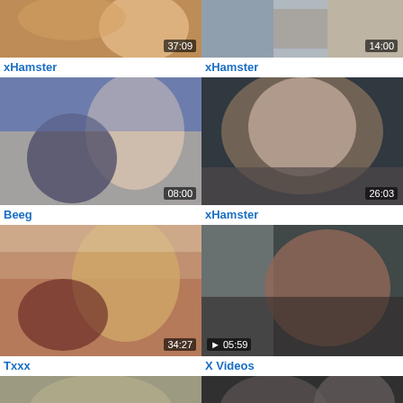[Figure (screenshot): Video thumbnail row 1 left with duration 37:09]
xHamster
[Figure (screenshot): Video thumbnail row 1 right with duration 14:00]
xHamster
[Figure (screenshot): Video thumbnail row 2 left with duration 08:00]
Beeg
[Figure (screenshot): Video thumbnail row 2 right with duration 26:03]
xHamster
[Figure (screenshot): Video thumbnail row 3 left with duration 34:27]
Txxx
[Figure (screenshot): Video thumbnail row 3 right with duration 05:59]
X Videos
[Figure (screenshot): Video thumbnail row 4 left (partial)]
[Figure (screenshot): Video thumbnail row 4 right (partial)]